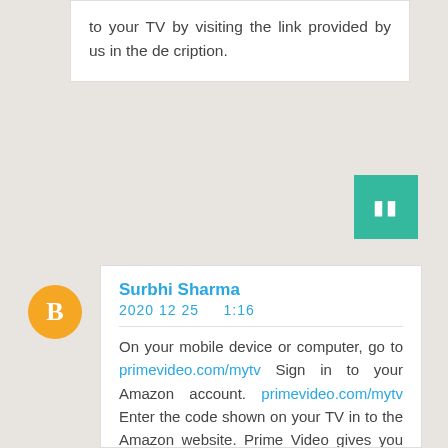to your TV by visiting the link provided by us in the de cription.
[Figure (other): Teal/green square button with two vertical bar icons (reply or pause icon)]
[Figure (other): Orange circular Blogger avatar icon with white B letter]
Surbhi Sharma
2020 12 25   1:16
On your mobile device or computer, go to primevideo.com/mytv Sign in to your Amazon account. primevideo.com/mytv Enter the code shown on your TV in to the Amazon website. Prime Video gives you two ways to instantly stream Video